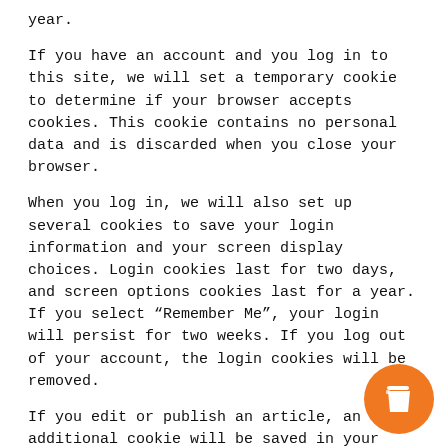year.
If you have an account and you log in to this site, we will set a temporary cookie to determine if your browser accepts cookies. This cookie contains no personal data and is discarded when you close your browser.
When you log in, we will also set up several cookies to save your login information and your screen display choices. Login cookies last for two days, and screen options cookies last for a year. If you select “Remember Me”, your login will persist for two weeks. If you log out of your account, the login cookies will be removed.
If you edit or publish an article, an additional cookie will be saved in your browser. This cookie includes no personal data and simply indicates the post ID of the article you just edited. It expires after 1 day.
Embedded content from other website